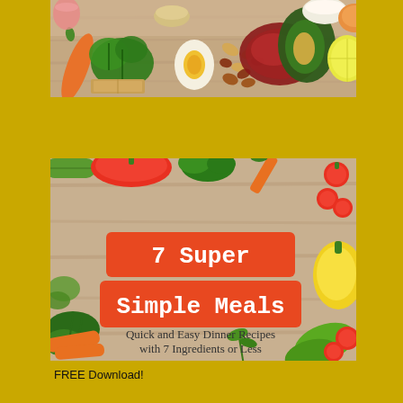[Figure (photo): Photo of healthy whole foods on a wooden board: basil, carrots, egg, red meat, avocado, nuts, lemon, and other ingredients]
[Figure (illustration): Book cover for '7 Super Simple Meals - Quick and Easy Dinner Recipes with 7 Ingredients or Less' surrounded by fresh vegetables including tomatoes, peppers, cucumber, carrots, and herbs on a wooden surface]
FREE Download!